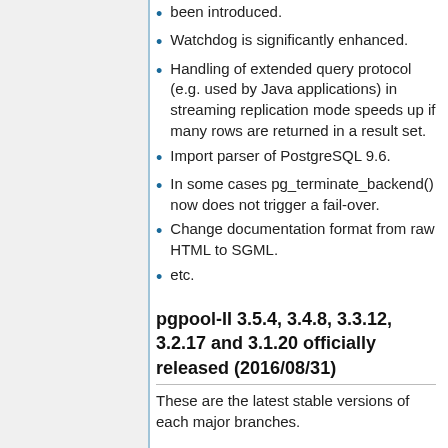been introduced.
Watchdog is significantly enhanced.
Handling of extended query protocol (e.g. used by Java applications) in streaming replication mode speeds up if many rows are returned in a result set.
Import parser of PostgreSQL 9.6.
In some cases pg_terminate_backend() now does not trigger a fail-over.
Change documentation format from raw HTML to SGML.
etc.
pgpool-II 3.5.4, 3.4.8, 3.3.12, 3.2.17 and 3.1.20 officially released (2016/08/31)
These are the latest stable versions of each major branches.